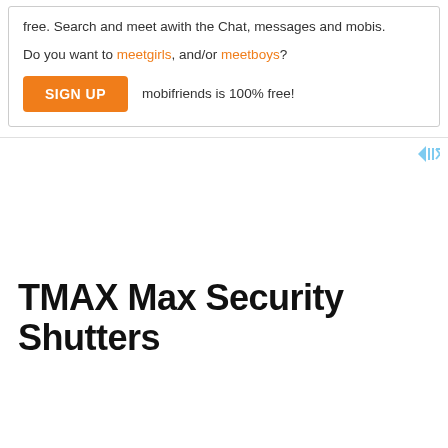free. Search and meet awith the Chat, messages and mobis.
Do you want to meetgirls, and/or meetboys?
SIGN UP   mobifriends is 100% free!
TMAX Max Security Shutters